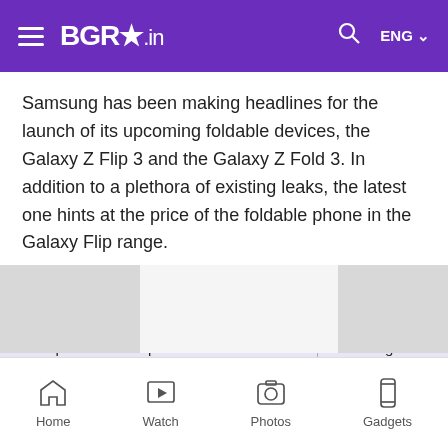BGR.in — ENG
Samsung has been making headlines for the launch of its upcoming foldable devices, the Galaxy Z Flip 3 and the Galaxy Z Fold 3. In addition to a plethora of existing leaks, the latest one hints at the price of the foldable phone in the Galaxy Flip range.
Also Read:
More News >
Motorola to launch new Edge series smartphones on September 8: Check details
One UI tri Samsung
By the looks of it, there are chances that it could be the